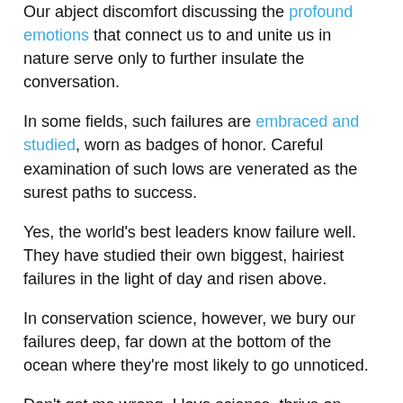Our abject discomfort discussing the profound emotions that connect us to and unite us in nature serve only to further insulate the conversation.
In some fields, such failures are embraced and studied, worn as badges of honor. Careful examination of such lows are venerated as the surest paths to success.
Yes, the world's best leaders know failure well. They have studied their own biggest, hairiest failures in the light of day and risen above.
In conservation science, however, we bury our failures deep, far down at the bottom of the ocean where they're most likely to go unnoticed.
Don't get me wrong, I love science, thrive on statistics, and adore my fellow science-geek colleagues. And it's certainly uncomfortable to talk about big, expensive projects that didn't achieve desired goals, but something has got to give.
I've heard for decades the same story of the